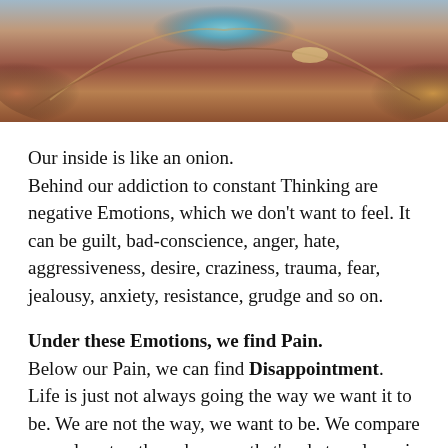[Figure (illustration): Colorful cosmic/eye illustration with blues, reds, oranges, and golds — swirling layers resembling an eye or onion cross-section]
Our inside is like an onion. Behind our addiction to constant Thinking are negative Emotions, which we don't want to feel. It can be guilt, bad-conscience, anger, hate, aggressiveness, desire, craziness, trauma, fear, jealousy, anxiety, resistance, grudge and so on.
Under these Emotions, we find Pain. Below our Pain, we can find Disappointment. Life is just not always going the way we want it to be. We are not the way, we want to be. We compare our selves to others, because that's what we learn in society: Who is the best..Who is the